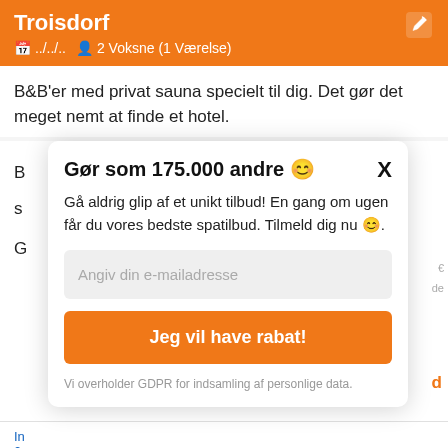Troisdorf
📅 ../../.. 👤 2 Voksne (1 Værelse)
B&B'er med privat sauna specielt til dig. Det gør det meget nemt at finde et hotel.
Gør som 175.000 andre 🙂
Gå aldrig glip af et unikt tilbud! En gang om ugen får du vores bedste spatilbud. Tilmeld dig nu 🙂.
Angiv din e-mailadresse
Jeg vil have rabat!
Vi overholder GDPR for indsamling af personlige data.